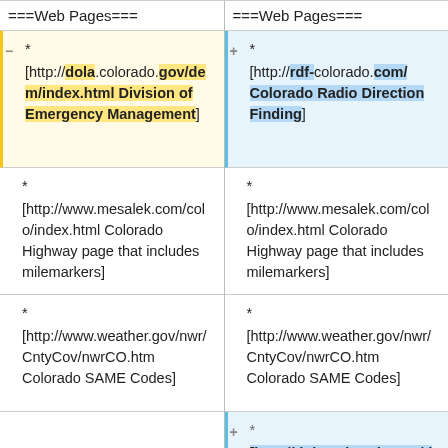===Web Pages===
===Web Pages===
* [http://dola.colorado.gov/dem/index.html Division of Emergency Management]
* [http://rdf-colorado.com/ Colorado Radio Direction Finding]
* [http://www.mesalek.com/colo/index.html Colorado Highway page that includes milemarkers]
* [http://www.mesalek.com/colo/index.html Colorado Highway page that includes milemarkers]
* [http://www.weather.gov/nwr/CntyCov/nwrCO.htm Colorado SAME Codes]
* [http://www.weather.gov/nwr/CntyCov/nwrCO.htm Colorado SAME Codes]
* [http://dola.colorado.gov/dem/index.html Division of Emergency Management]